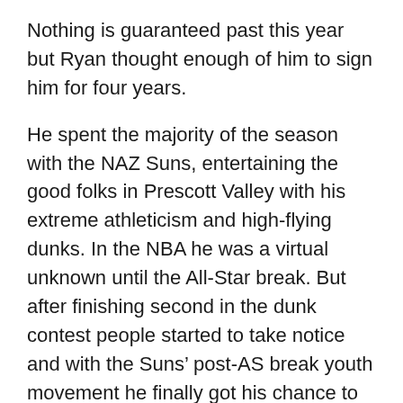Nothing is guaranteed past this year but Ryan thought enough of him to sign him for four years.
He spent the majority of the season with the NAZ Suns, entertaining the good folks in Prescott Valley with his extreme athleticism and high-flying dunks. In the NBA he was a virtual unknown until the All-Star break. But after finishing second in the dunk contest people started to take notice and with the Suns’ post-AS break youth movement he finally got his chance to show his stuff with the big team for the rest of the season.
And he showed everyone where the nickname “Airplane Mode” came from.
After the All-Star break Jones averaged 20.9 minutes